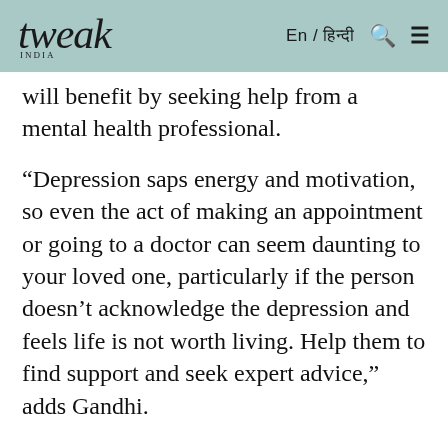tweak india | En / हिन्दी
will benefit by seeking help from a mental health professional.
“Depression saps energy and motivation, so even the act of making an appointment or going to a doctor can seem daunting to your loved one, particularly if the person doesn’t acknowledge the depression and feels life is not worth living. Help them to find support and seek expert advice,” adds Gandhi.
We’re inviting you to join Tweak Connect, our private community of like-minded women, where you can make friends and freely chat